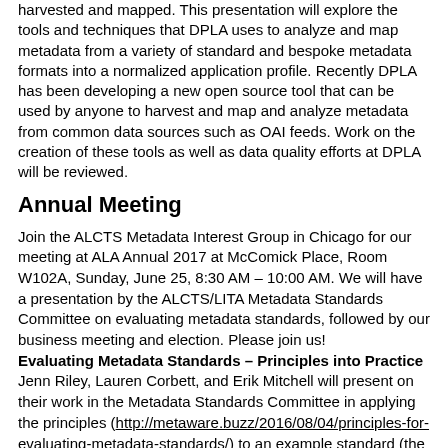harvested and mapped. This presentation will explore the tools and techniques that DPLA uses to analyze and map metadata from a variety of standard and bespoke metadata formats into a normalized application profile. Recently DPLA has been developing a new open source tool that can be used by anyone to harvest and map and analyze metadata from common data sources such as OAI feeds. Work on the creation of these tools as well as data quality efforts at DPLA will be reviewed.
Annual Meeting
Join the ALCTS Metadata Interest Group in Chicago for our meeting at ALA Annual 2017 at McComick Place, Room W102A, Sunday, June 25, 8:30 AM – 10:00 AM. We will have a presentation by the ALCTS/LITA Metadata Standards Committee on evaluating metadata standards, followed by our business meeting and election. Please join us!
Evaluating Metadata Standards – Principles into Practice
Jenn Riley, Lauren Corbett, and Erik Mitchell will present on their work in the Metadata Standards Committee in applying the principles (http://metaware.buzz/2016/08/04/principles-for-evaluating-metadata-standards/) to an example standard (the NISO Sample Tag Suite). The principles for evaluation were developed in 2016 to give metadata communities a common tool to explore standards design. The team will discuss the process for identifying standards to evaluate and approach to reviewing standards as well as the outcomes, lessons learned and next steps for the metadata principles.